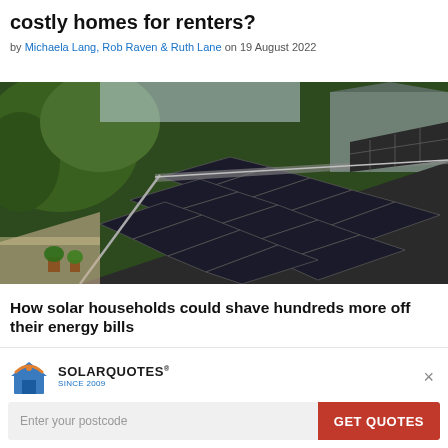costly homes for renters?
by Michaela Lang, Rob Raven & Ruth Lane on 19 August 2022
[Figure (photo): Aerial view of a residential rooftop covered with dark solar panels, surrounded by green trees and neighboring houses.]
How solar households could shave hundreds more off their energy bills
SolarQuotes Since 2009 - Enter your postcode - GET QUOTES